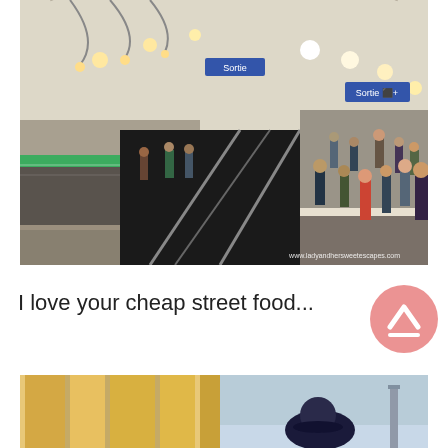[Figure (photo): Paris Metro station interior showing arched tunnel, platform with people, passing train with motion blur, signs reading 'Sortie', and watermark 'www.ladyandhersweetescapes.com']
I love your cheap street food...
[Figure (photo): Bottom portion of a photo showing what appears to be street food items on left side and a person wearing a dark hat with a tower (possibly Eiffel Tower) in background on right side]